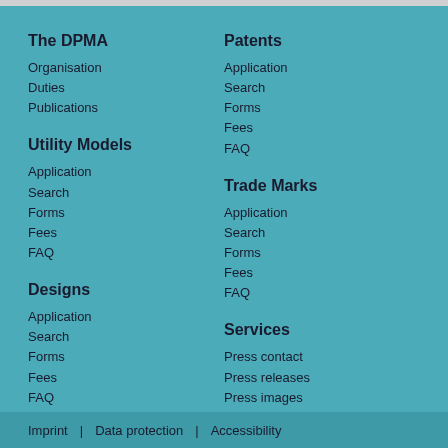The DPMA
Organisation
Duties
Publications
Patents
Application
Search
Forms
Fees
FAQ
Utility Models
Application
Search
Forms
Fees
FAQ
Trade Marks
Application
Search
Forms
Fees
FAQ
Designs
Application
Search
Forms
Fees
FAQ
Services
Press contact
Press releases
Press images
Press mailing list
Statistics
Imprint | Data protection | Accessibility